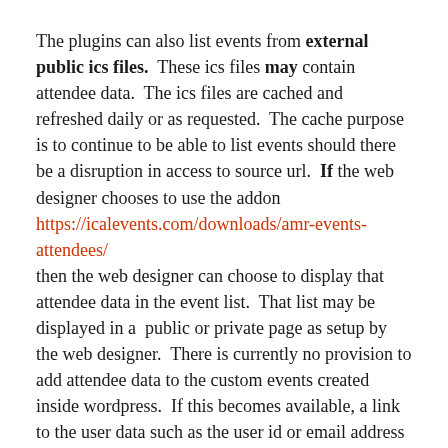The plugins can also list events from external public ics files. These ics files may contain attendee data. The ics files are cached and refreshed daily or as requested. The cache purpose is to continue to be able to list events should there be a disruption in access to source url. If the web designer chooses to use the addon https://icalevents.com/downloads/amr-events-attendees/ then the web designer can choose to display that attendee data in the event list. That list may be displayed in a public or private page as setup by the web designer. There is currently no provision to add attendee data to the custom events created inside wordpress. If this becomes available, a link to the user data such as the user id or email address is what would be stored.
GDPR Summary
The plugins use a minimal amount of user data required to